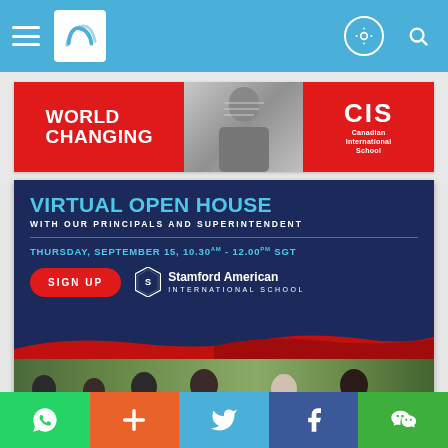Navigation bar with hamburger menu, logo, and search/settings icons
[Figure (screenshot): CIS Canadian International School advertisement banner with 'WORLD CHANGING' text in red and white, a photo of a masked student at a whiteboard, and the CIS logo]
[Figure (infographic): Stamford American International School Virtual Open House advertisement on dark navy background. Text: VIRTUAL OPEN HOUSE WITH OUR PRINCIPALS AND SUPERINTENDENT. THURSDAY, SEPTEMBER 15, 10.30AM - 12.00PM SGT. SIGN UP button. Stamford American International School logo. Group photo of six school leaders.]
[Figure (photo): Partially visible green background photo, bottom of page]
Social share bar: WhatsApp, Add, Twitter, Facebook, WeChat